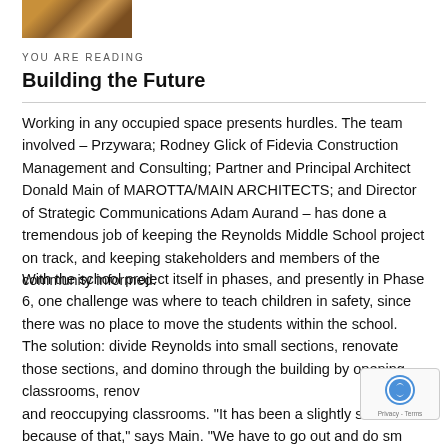[Figure (photo): Small thumbnail photo of a building exterior, brownish tones]
YOU ARE READING
Building the Future
Working in any occupied space presents hurdles. The team involved – Przywara; Rodney Glick of Fidevia Construction Management and Consulting; Partner and Principal Architect Donald Main of MAROTTA/MAIN ARCHITECTS; and Director of Strategic Communications Adam Aurand – has done a tremendous job of keeping the Reynolds Middle School project on track, and keeping stakeholders and members of the community informed.
With the school project itself in phases, and presently in Phase 6, one challenge was where to teach children in safety, since there was no place to move the students within the school. The solution: divide Reynolds into small sections, renovate those sections, and domino through the building by opening classrooms, renovating and reoccupying classrooms. "It has been a slightly slower because of that," says Main. "We have to go out and do sm phasing, because there isn't additional space on the site."